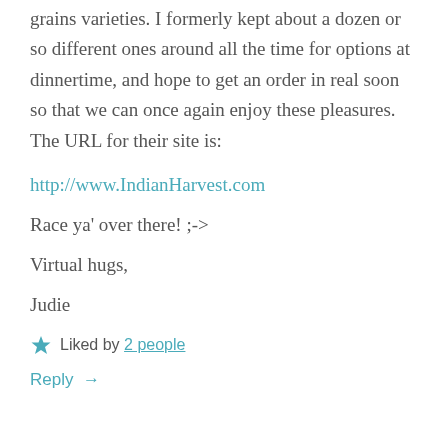grains varieties. I formerly kept about a dozen or so different ones around all the time for options at dinnertime, and hope to get an order in real soon so that we can once again enjoy these pleasures. The URL for their site is:
http://www.IndianHarvest.com
Race ya' over there! ;->
Virtual hugs,
Judie
Liked by 2 people
Reply →